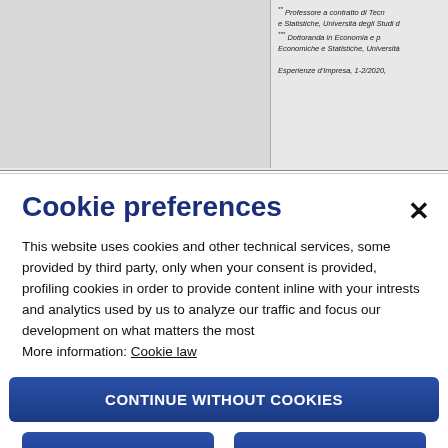** Professore a contratto di Tecn... e Statistiche, Università degli Studi d... *** Dottoranda in Economia e p... Economiche e Statistiche, Università... Esperienze d'Impresa, 1-2/2020,
Cookie preferences
This website uses cookies and other technical services, some provided by third party, only when your consent is provided, profiling cookies in order to provide content inline with your intrests and analytics used by us to analyze our traffic and focus our development on what matters the most
More information: Cookie law
CONTINUE WITHOUT COOKIES
ACCEPT ALL
CUSTOMIZE